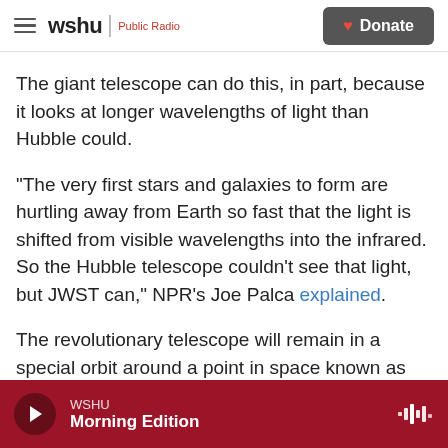wshu | Public Radio  [Donate]
The giant telescope can do this, in part, because it looks at longer wavelengths of light than Hubble could.
"The very first stars and galaxies to form are hurtling away from Earth so fast that the light is shifted from visible wavelengths into the infrared. So the Hubble telescope couldn't see that light, but JWST can," NPR's Joe Palca explained.
The revolutionary telescope will remain in a special orbit around a point in space known as Lagrange Point 2, and 2... a point that will help keep its
WSHU  Morning Edition